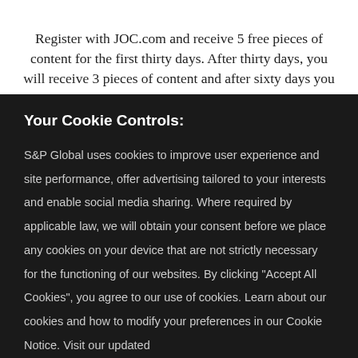Register with JOC.com and receive 5 free pieces of content for the first thirty days. After thirty days, you will receive 3 pieces of content and after sixty days you will receive 1 piece of
Your Cookie Controls:
S&P Global uses cookies to improve user experience and site performance, offer advertising tailored to your interests and enable social media sharing. Where required by applicable law, we will obtain your consent before we place any cookies on your device that are not strictly necessary for the functioning of our websites. By clicking "Accept All Cookies", you agree to our use of cookies. Learn about our cookies and how to modify your preferences in our Cookie Notice. Visit our updated